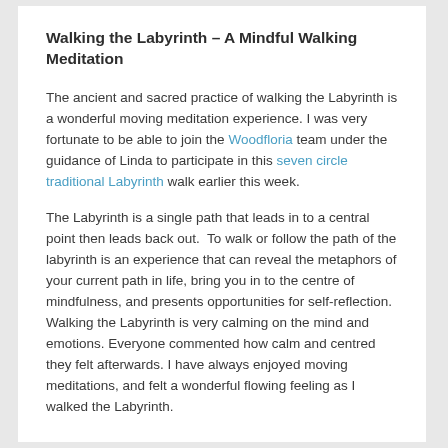Walking the Labyrinth – A Mindful Walking Meditation
The ancient and sacred practice of walking the Labyrinth is a wonderful moving meditation experience. I was very fortunate to be able to join the Woodfloria team under the guidance of Linda to participate in this seven circle traditional Labyrinth walk earlier this week.
The Labyrinth is a single path that leads in to a central point then leads back out.  To walk or follow the path of the labyrinth is an experience that can reveal the metaphors of your current path in life, bring you in to the centre of mindfulness, and presents opportunities for self-reflection. Walking the Labyrinth is very calming on the mind and emotions. Everyone commented how calm and centred they felt afterwards. I have always enjoyed moving meditations, and felt a wonderful flowing feeling as I walked the Labyrinth.